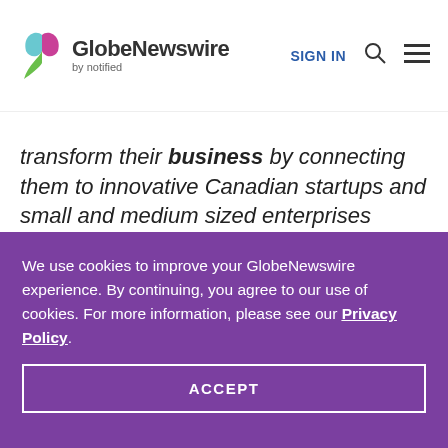GlobeNewswire by notified — SIGN IN
transform their business by connecting them to innovative Canadian startups and small and medium sized enterprises (SMEs).
We use cookies to improve your GlobeNewswire experience. By continuing, you agree to our use of cookies. For more information, please see our Privacy Policy.
ACCEPT